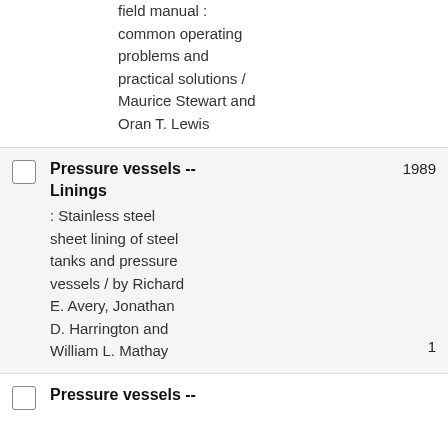field manual : common operating problems and practical solutions / Maurice Stewart and Oran T. Lewis
Pressure vessels -- Linings 1989 : Stainless steel sheet lining of steel tanks and pressure vessels / by Richard E. Avery, Jonathan D. Harrington and William L. Mathay 1
Pressure vessels --